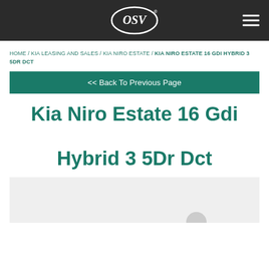OSV logo and navigation header
HOME / KIA LEASING AND SALES / KIA NIRO ESTATE / KIA NIRO ESTATE 16 GDI HYBRID 3 5DR DCT
<< Back To Previous Page
Kia Niro Estate 16 Gdi Hybrid 3 5Dr Dct
[Figure (photo): Partial vehicle image area (light grey background with circular element visible)]